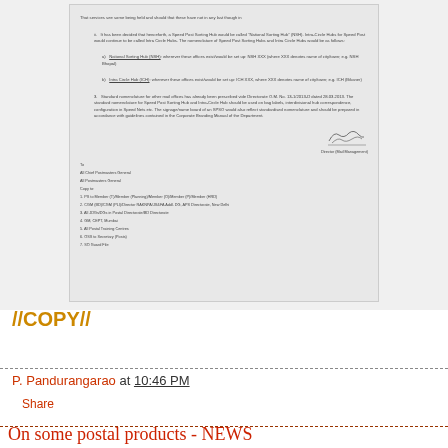[Figure (photo): Scanned government document page showing a circular/order about naming conventions for Speed Post Sorting Hubs (National Sorting Hub - NSH, Intra-Circle Hub - ICH), with instructions about nomenclature for bag labels and signage, with a signature block reading 'Director (Mail Management)', and a 'To' section listing recipients including All Chief Postmasters General, All Postmasters General, and various copy recipients.]
//COPY//
P. Pandurangarao at 10:46 PM
Share
On some postal products - NEWS